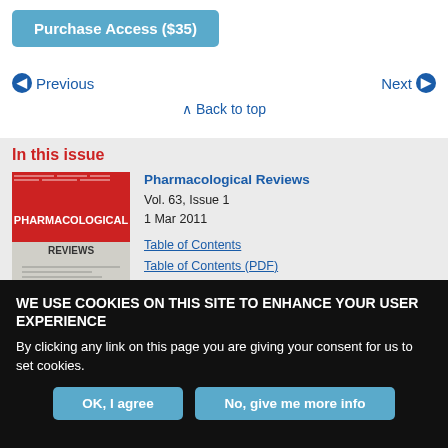Purchase Access ($35)
Previous
Next
Back to top
In this issue
[Figure (illustration): Journal cover of Pharmacological Reviews showing red and black cover design with title text and a diagram on interior page]
Pharmacological Reviews
Vol. 63, Issue 1
1 Mar 2011
Table of Contents
Table of Contents (PDF)
About the Cover
Index by author
WE USE COOKIES ON THIS SITE TO ENHANCE YOUR USER EXPERIENCE
By clicking any link on this page you are giving your consent for us to set cookies.
OK, I agree
No, give me more info